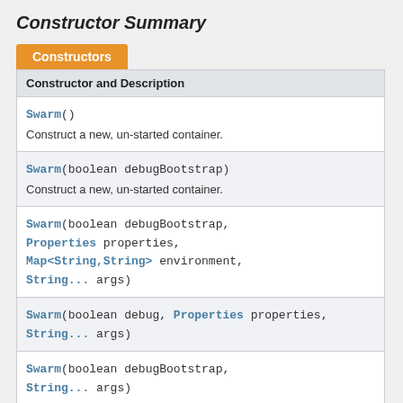Constructor Summary
| Constructor and Description |
| --- |
| Swarm()
Construct a new, un-started container. |
| Swarm(boolean debugBootstrap)
Construct a new, un-started container. |
| Swarm(boolean debugBootstrap, Properties properties, Map<String,String> environment, String... args) |
| Swarm(boolean debug, Properties properties, String... args) |
| Swarm(boolean debugBootstrap, String... args)
Construct a new, un-started container, configured |